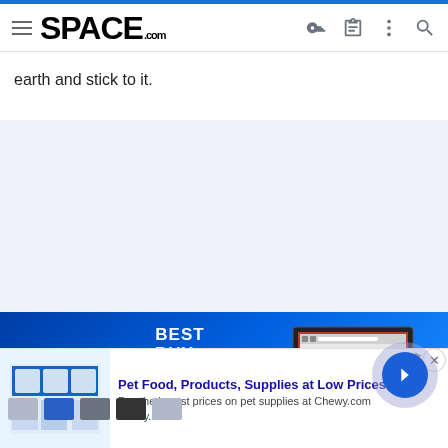SPACE.com
earth and stick to it.
[Figure (screenshot): Best Buy advertisement banner showing Best Buy logo and 'Save up to' text with laptop image on blue gradient background]
[Figure (screenshot): Chewy.com Google ad overlay: 'Pet Food, Products, Supplies at Low Prices - Pay the lowest prices on pet supplies at Chewy.com' with close button and arrow navigation button]
[Figure (screenshot): Row of thumbnail images at bottom of ad overlay]